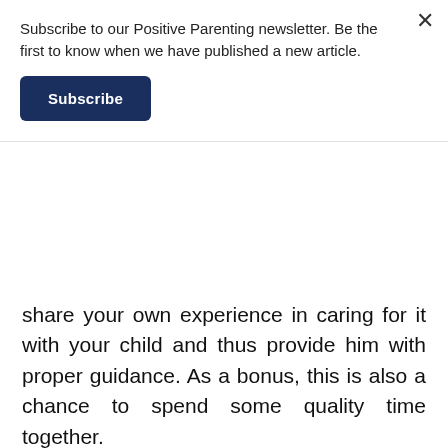Subscribe to our Positive Parenting newsletter. Be the first to know when we have published a new article.
Subscribe
share your own experience in caring for it with your child and thus provide him with proper guidance. As a bonus, this is also a chance to spend some quality time together.
You are your own backup
Lastly, you should also be prepared for the worst case scenario! If your child fails at fulfilling his end of the deal by not caring for the pet properly or neglecting it completely, you